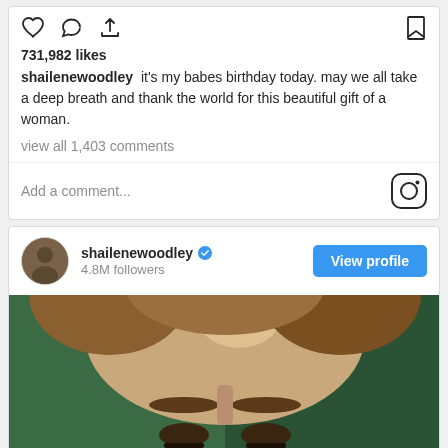[Figure (screenshot): Instagram post UI showing action bar with heart, comment, share icons and bookmark icon]
731,982 likes
shailenewoodley it's my babes birthday today. may we all take a deep breath and thank the world for this beautiful gift of a woman.
view all 1,403 comments
Add a comment...
[Figure (screenshot): Instagram profile row for shailenewoodley with 4.8M followers, verified badge, and View profile button]
[Figure (photo): Close-up photo of a woman's forehead and eyes, partially cropped, against a dark green background]